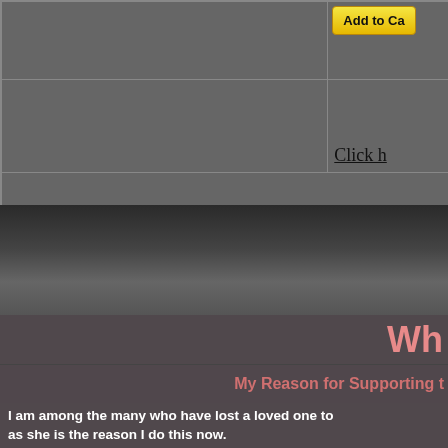[Figure (screenshot): Top portion of a webpage showing a table/grid layout with gray cells. The right column top cell contains a yellow 'Add to Ca[rt]' button. The right column middle cell contains an underlined link 'Click h[ere]'. The bottom row spans the full width.]
[Figure (photo): Dark, moody sky/landscape background image in grayscale.]
Wh[y I Walk]
My Reason for Supporting t[his cause]
I am among the many who have lost a loved one to [this disease and] as she is the reason I do this now.